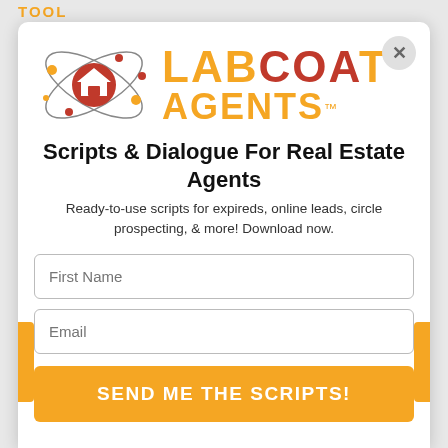TOOL
[Figure (logo): Labcoat Agents logo with atomic orbit graphic containing a house icon, and text LABCOAT AGENTS in orange and dark red]
Scripts & Dialogue For Real Estate Agents
Ready-to-use scripts for expireds, online leads, circle prospecting, & more! Download now.
First Name
Email
SEND ME THE SCRIPTS!